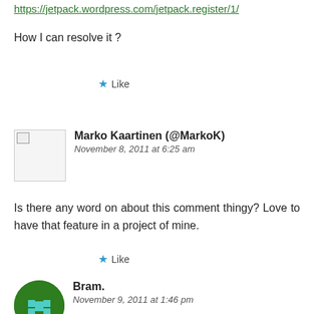https://jetpack.wordpress.com/jetpack.register/1/
How I can resolve it ?
★ Like
Marko Kaartinen (@MarkoK)
November 8, 2011 at 6:25 am
Is there any word on about this comment thingy? Love to have that feature in a project of mine.
★ Like
Bram.
November 9, 2011 at 1:46 pm